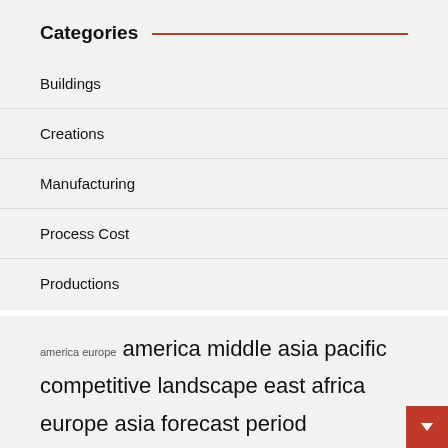Categories
Buildings
Creations
Manufacturing
Process Cost
Productions
america europe  america middle  asia pacific  competitive landscape  east africa  europe asia  forecast period